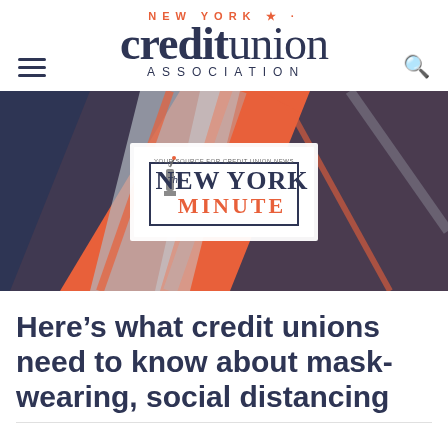[Figure (logo): New York Credit Union Association logo with 'NEW YORK' text above in orange with star, 'creditunion' in dark navy large serif font, and 'ASSOCIATION' in small caps below]
[Figure (illustration): The New York Minute newsletter banner with geometric diagonal shapes in orange, navy, and gray, with 'The New York Minute - Your source for credit union news' logo centered]
Here’s what credit unions need to know about mask-wearing, social distancing